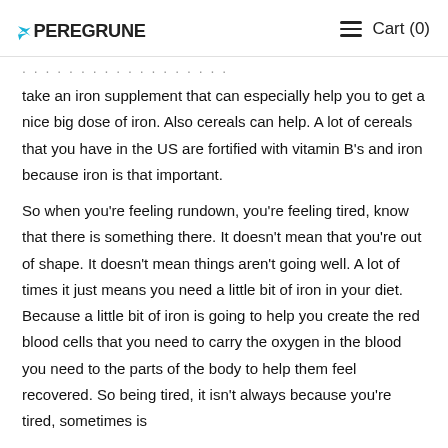PEREGRUNE  ☰  Cart (0)
take an iron supplement that can especially help you to get a nice big dose of iron. Also cereals can help. A lot of cereals that you have in the US are fortified with vitamin B's and iron because iron is that important.
So when you're feeling rundown, you're feeling tired, know that there is something there. It doesn't mean that you're out of shape. It doesn't mean things aren't going well. A lot of times it just means you need a little bit of iron in your diet. Because a little bit of iron is going to help you create the red blood cells that you need to carry the oxygen in the blood you need to the parts of the body to help them feel recovered. So being tired, it isn't always because you're tired, sometimes is